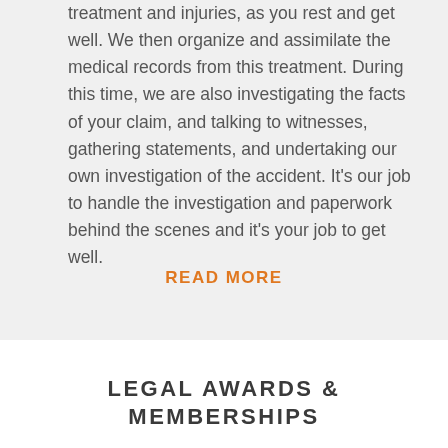treatment and injuries, as you rest and get well. We then organize and assimilate the medical records from this treatment. During this time, we are also investigating the facts of your claim, and talking to witnesses, gathering statements, and undertaking our own investigation of the accident. It's our job to handle the investigation and paperwork behind the scenes and it's your job to get well.
READ MORE
LEGAL AWARDS & MEMBERSHIPS